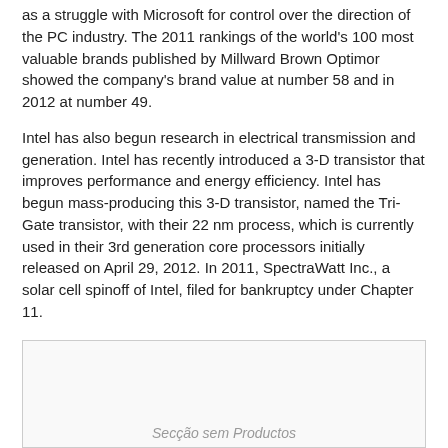as a struggle with Microsoft for control over the direction of the PC industry. The 2011 rankings of the world's 100 most valuable brands published by Millward Brown Optimor showed the company's brand value at number 58 and in 2012 at number 49.
Intel has also begun research in electrical transmission and generation. Intel has recently introduced a 3-D transistor that improves performance and energy efficiency. Intel has begun mass-producing this 3-D transistor, named the Tri-Gate transistor, with their 22 nm process, which is currently used in their 3rd generation core processors initially released on April 29, 2012. In 2011, SpectraWatt Inc., a solar cell spinoff of Intel, filed for bankruptcy under Chapter 11.
The Open Source Technology Center at Intel hosts PowerTOP and LatencyTOP, and supports other open-source projects such as Wayland, Intel Array Building Blocks, Intel Threading Building Blocks, and Xen.
[Figure (other): Placeholder image box with caption 'Secção sem Productos' at the bottom]